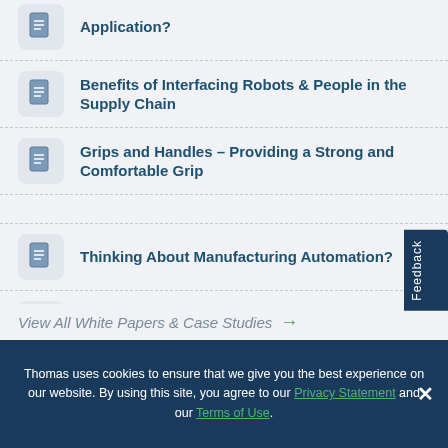Application?
Benefits of Interfacing Robots & People in the Supply Chain
Grips and Handles – Providing a Strong and Comfortable Grip
Thinking About Manufacturing Automation?
Guide to Switches for Your Application
Choosing the Right Load Ring for Your Needs
View All White Papers & Case Studies →
Thomas uses cookies to ensure that we give you the best experience on our website. By using this site, you agree to our Privacy Statement and our Terms of Use.